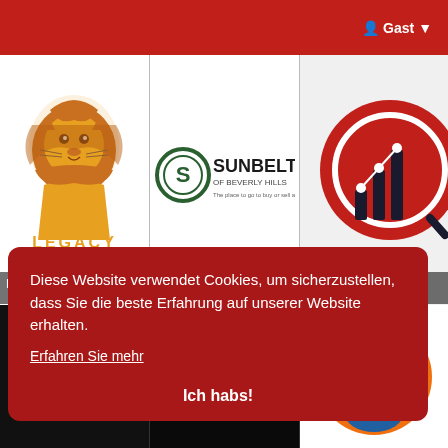Gast
[Figure (logo): Legacy Graphics lion logo with orange lion head and LEGACY text in gold]
Legacy Gra...
[Figure (logo): Sunbelt of Beverly Hills logo - green S emblem with SUNBELT text]
sunbeltbus
[Figure (logo): Sakshi Mis logo - bar chart with magnifying glass on red circle]
Sakshi Mis
[Figure (logo): MotiV logo - blue text on dark background]
[Figure (logo): HAYEN logo - green text with red arch on dark background]
[Figure (logo): Orange circle with cartoon man in glasses]
Diese Website verwendet Cookies, um sicherzustellen, dass Sie die beste Erfahrung auf unserer Website erhalten.
Erfahren Sie mehr
Ich habs!